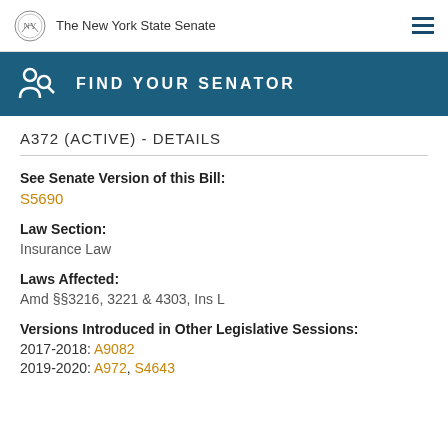The New York State Senate
[Figure (infographic): Find Your Senator banner with person/search icon on blue background]
A372 (ACTIVE) - DETAILS
See Senate Version of this Bill:
S5690
Law Section:
Insurance Law
Laws Affected:
Amd §§3216, 3221 & 4303, Ins L
Versions Introduced in Other Legislative Sessions:
2017-2018: A9082
2019-2020: A972, S4643